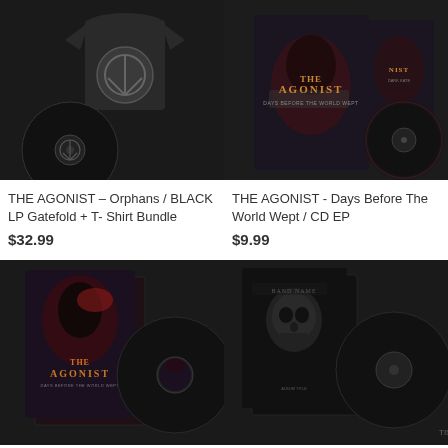[Figure (photo): THE AGONIST Orphans black LP gatefold vinyl record with t-shirt bundle product photo on dark background]
THE AGONIST – Orphans / BLACK LP Gatefold + T- Shirt Bundle
$32.99
[Figure (photo): THE AGONIST Days Before The World Wept CD EP product photo showing album covers on dark background]
THE AGONIST - Days Before The World Wept / CD EP
$9.99
[Figure (photo): THE AGONIST album vinyl LP product photo on dark background, bottom left]
[Figure (photo): Metal album vinyl LP product photo on dark background, bottom right, skull artwork]